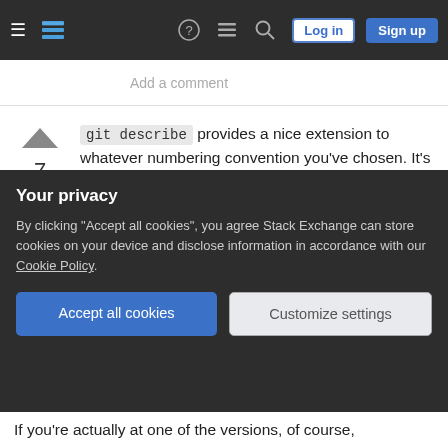Stack Exchange navigation bar with Log in and Sign up buttons
Add a comment
git describe provides a nice extension to whatever numbering convention you've chosen. It's easy enough to embed this in your build/packaging/deployment process.
Suppose you name your tagged release versions A.B.C (major.minor.maintenance). git describe on a given commit will find the most recent tagged ancestor of the commit, then tack on the number of
Your privacy
By clicking "Accept all cookies", you agree Stack Exchange can store cookies on your device and disclose information in accordance with our Cookie Policy.
Accept all cookies
Customize settings
If you're actually at one of the versions, of course,